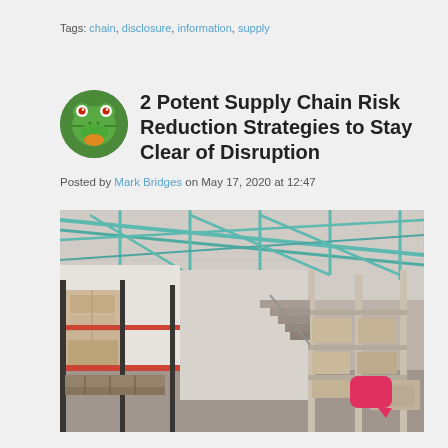Tags: chain, disclosure, information, supply
2 Potent Supply Chain Risk Reduction Strategies to Stay Clear of Disruption
Posted by Mark Bridges on May 17, 2020 at 12:47
[Figure (photo): Interior of a warehouse with metal shelving racks stacked with boxes and pallets, teal/green roof trusses visible at the top]